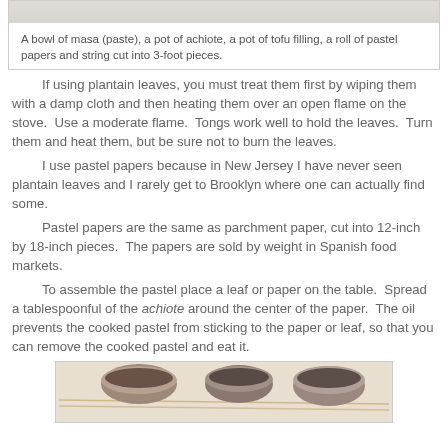A bowl of masa (paste), a pot of achiote, a pot of tofu filling, a roll of pastel papers and string cut into 3-foot pieces.
If using plantain leaves, you must treat them first by wiping them with a damp cloth and then heating them over an open flame on the stove.  Use a moderate flame.  Tongs work well to hold the leaves.  Turn them and heat them, but be sure not to burn the leaves.
I use pastel papers because in New Jersey I have never seen plantain leaves and I rarely get to Brooklyn where one can actually find some.
Pastel papers are the same as parchment paper, cut into 12-inch by 18-inch pieces.  The papers are sold by weight in Spanish food markets.
To assemble the pastel place a leaf or paper on the table.  Spread a tablespoonful of the achiote around the center of the paper.  The oil prevents the cooked pastel from sticking to the paper or leaf, so that you can remove the cooked pastel and eat it.
[Figure (photo): Photo of bowls and pots on a table with string, showing masa paste, achiote, tofu filling, pastel papers and string.]